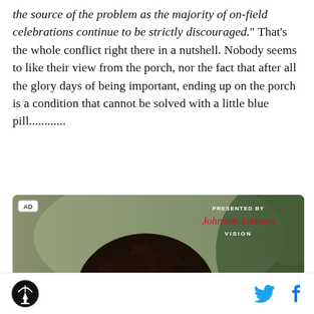the source of the problem as the majority of on-field celebrations continue to be strictly discouraged." That's the whole conflict right there in a nutshell. Nobody seems to like their view from the porch, nor the fact that after all the glory days of being important, ending up on the porch is a condition that cannot be solved with a little blue pill............
[Figure (photo): Advertisement image showing a person with curly hair from behind, with 'AD' label in top left and 'PRESENTED BY Johnson & Johnson VISION' text in top right corner. Green blurred background.]
Site logo (circular icon with antenna/broadcast symbol) on left; Twitter bird icon and Facebook 'f' icon on right